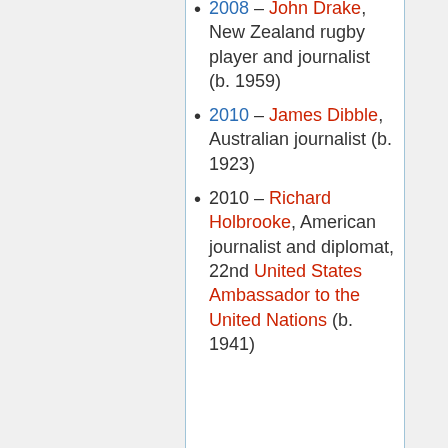2008 – John Drake, New Zealand rugby player and journalist (b. 1959)
2010 – James Dibble, Australian journalist (b. 1923)
2010 – Richard Holbrooke, American journalist and diplomat, 22nd United States Ambassador to the United Nations (b. 1941)